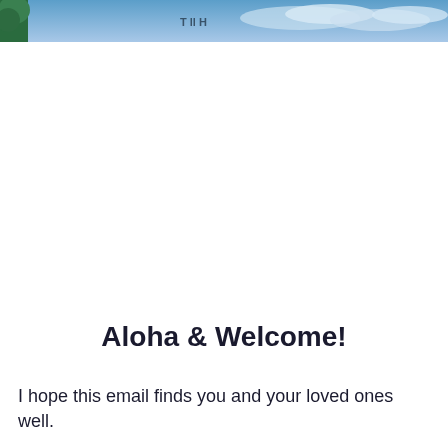[Figure (photo): Partial banner image showing a blue sky with clouds and a green tree/foliage on the left edge, with some partially visible text in the center]
Aloha & Welcome!
I hope this email finds you and your loved ones well.